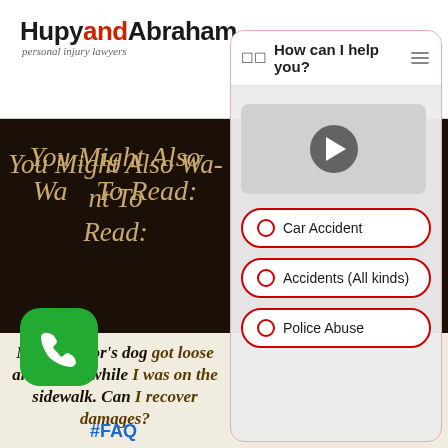Hupy and Abraham s.c. personal injury lawyers
[Figure (screenshot): Chat widget overlay with header 'How can I help you?' and three radio button options: Car Accident, Accidents (All kinds), Police Abuse. Background shows a video player placeholder.]
You Might Also Want To Read:
[Figure (illustration): Green phone call button (rounded square icon with white phone handset)]
My neighbor's dog got loose and bit me while I was on the sidewalk. Can I recover damages?
#FAQ